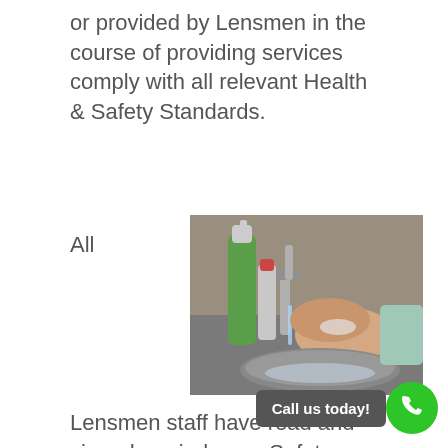or provided by Lensmen in the course of providing services comply with all relevant Health & Safety Standards.
All
[Figure (photo): Person washing hands at a stainless steel sink with green soap dispenser and chrome faucet.]
Lensmen staff have read and signed our in-house Safety Statement, and are responsible for ensuring all Health & Safety standards are applied to ensu...